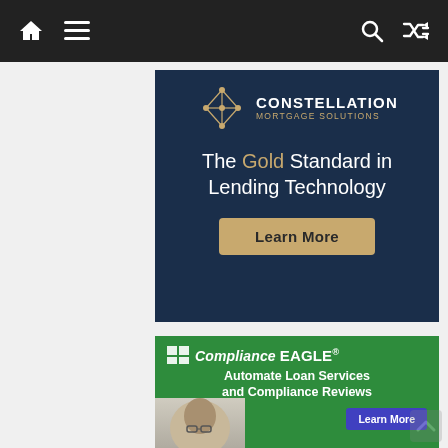[Figure (screenshot): Mobile website navigation bar with home icon, hamburger menu, search icon, and shuffle icon on dark background]
[Figure (other): Constellation Mortgage Solutions advertisement banner with dark navy background. Logo with geometric diamond/constellation icon. Text: 'The Gold Standard in Lending Technology'. Gold 'Learn More' button.]
[Figure (other): Compliance EAGLE advertisement with green background. Logo and text: 'Automate Loan Services and Compliance Reviews'. Blue 'Learn More' button. Photo of a man with glasses.]